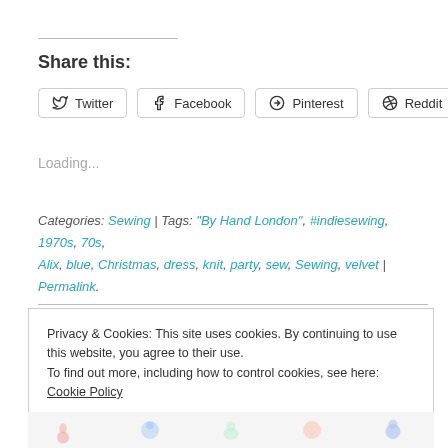Share this:
Twitter  Facebook  Pinterest  Reddit
Loading...
Categories: Sewing | Tags: "By Hand London", #indiesewing, 1970s, 70s, Alix, blue, Christmas, dress, knit, party, sew, Sewing, velvet | Permalink.
Privacy & Cookies: This site uses cookies. By continuing to use this website, you agree to their use.
To find out more, including how to control cookies, see here: Cookie Policy
Close and accept